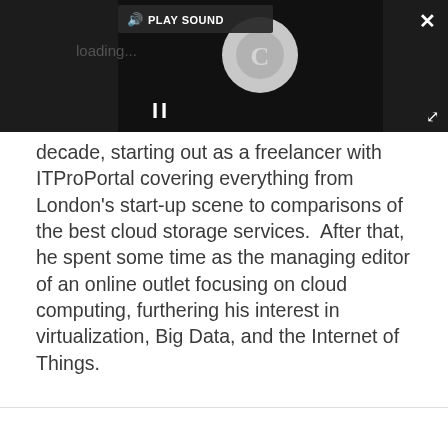[Figure (screenshot): Dark video player overlay with a loading spinner showing a 'C' logo, a pause button (||), a 'PLAY SOUND' label with speaker icon, a close (×) button top-right, and an expand/fullscreen button bottom-right.]
decade, starting out as a freelancer with ITProPortal covering everything from London's start-up scene to comparisons of the best cloud storage services.  After that, he spent some time as the managing editor of an online outlet focusing on cloud computing, furthering his interest in virtualization, Big Data, and the Internet of Things.